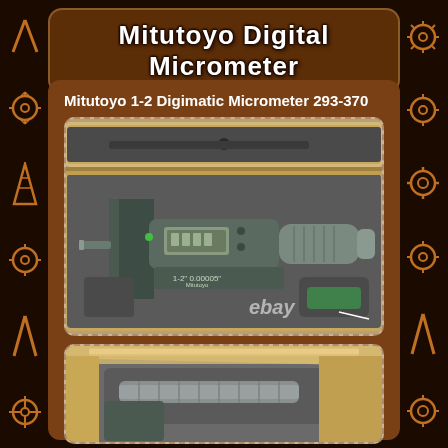Mitutoyo Digital Micrometer
Mitutoyo 1-2 Digimatic Micrometer 293-370
[Figure (photo): Mitutoyo 1-2 Digimatic Micrometer 293-370 in foam-lined wooden carrying case, showing the micrometer body with digital display, spindle, and an extra part stored in foam cutout. eBay watermark visible at bottom.]
[Figure (photo): Close-up view of Mitutoyo micrometer in carrying case showing the spindle/anvil area and foam cutout interior of the wooden case.]